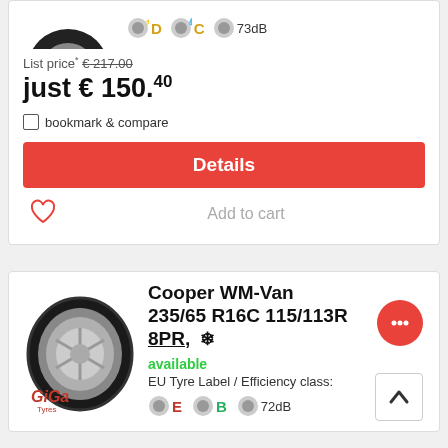List price* €217.00
just € 150.40
bookmark & compare
Details
Add to cart
[Figure (photo): Cooper WM-Van tyre product photo with Giga Tyres watermark; EU label showing E / B / 72dB ratings]
Cooper WM-Van 235/65 R16C 115/113R 8PR, ❄
available
EU Tyre Label / Efficiency class:
E  B  72dB